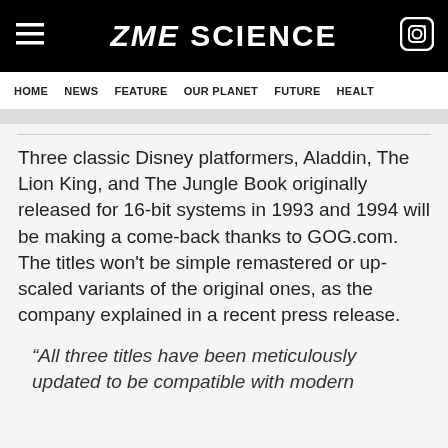ZME SCIENCE
HOME  NEWS  FEATURE  OUR PLANET  FUTURE  HEALTH
Three classic Disney platformers, Aladdin, The Lion King, and The Jungle Book originally released for 16-bit systems in 1993 and 1994 will be making a come-back thanks to GOG.com. The titles won't be simple remastered or up-scaled variants of the original ones, as the company explained in a recent press release.
“All three titles have been meticulously updated to be compatible with modern